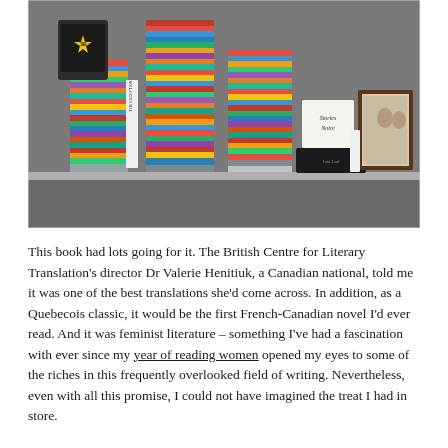[Figure (photo): A photograph of a bookshelf or desk surface stacked high with numerous books in various colors and sizes, including a Kindle e-reader with a '30' star sticker, several framed photographs on the right side, and a black box. Books are piled horizontally and vertically in multiple tall stacks.]
This book had lots going for it. The British Centre for Literary Translation's director Dr Valerie Henitiuk, a Canadian national, told me it was one of the best translations she'd come across. In addition, as a Quebecois classic, it would be the first French-Canadian novel I'd ever read. And it was feminist literature – something I've had a fascination with ever since my year of reading women opened my eyes to some of the riches in this frequently overlooked field of writing. Nevertheless, even with all this promise, I could not have imagined the treat I had in store.